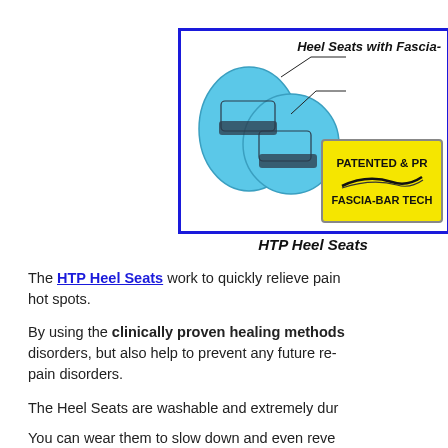[Figure (illustration): Blue HTP Heel Seats orthotic insoles shown side by side, with annotation lines pointing to label 'Heel Seats with Fascia-' and a yellow badge reading 'PATENTED & PR... FASCIA-BAR TECH...' with a swoosh logo. Image is enclosed in a blue border rectangle.]
HTP Heel Seats
The HTP Heel Seats work to quickly relieve pain and hot spots.
By using the clinically proven healing methods disorders, but also help to prevent any future re- pain disorders.
The Heel Seats are washable and extremely dur
You can wear them to slow down and even reve